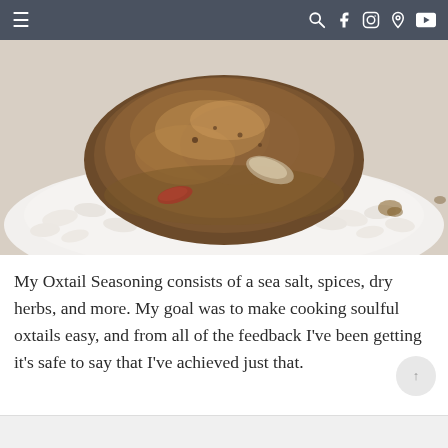≡  🔍 f 📷 p ▶
[Figure (photo): Close-up photo of braised oxtail served over white rice on a white plate, with a red pepper visible and brown gravy sauce.]
My Oxtail Seasoning consists of a sea salt, spices, dry herbs, and more. My goal was to make cooking soulful oxtails easy, and from all of the feedback I've been getting it's safe to say that I've achieved just that.